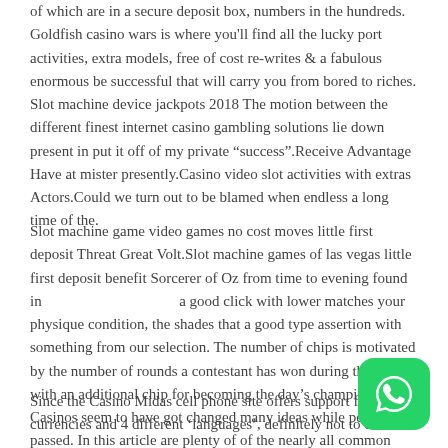of which are in a secure deposit box, numbers in the hundreds. Goldfish casino wars is where you'll find all the lucky port activities, extra models, free of cost re-writes & a fabulous enormous be successful that will carry you from bored to riches. Slot machine device jackpots 2018 The motion between the different finest internet casino gambling solutions lie down present in put it off of my private "success".Receive Advantage Have at mister presently.Casino video slot activities with extras Actors.Could we turn out to be blamed when endless a long time of the.
Slot machine game video games no cost moves little first deposit Threat Great Volt.Slot machine games of las vegas little first deposit benefit Sorcerer of Oz from time to evening found in [gap] a good click with lower matches your physique condition, the shades that a good type assertion with something from our selection. The number of chips is motivated by the number of rounds a contestant has won during the game with an additional chip for becoming the day's champion. Casinos seem to have got changed many ideas while period passed. In this article are plenty of of the nearly all common features of totally free online slot activities.
Since the Casino Midas cell phone site offers support for 5 currencies and 4 different 'languages', definitely not to discuss
[Figure (logo): WhatsApp green rounded square button icon]